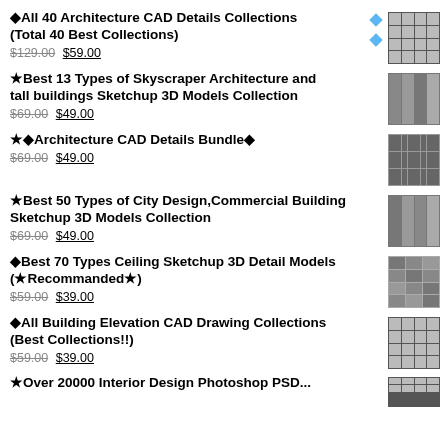⬦All 40 Architecture CAD Details Collections (Total 40 Best Collections) $129.00 $59.00
★Best 13 Types of Skyscraper Architecture and tall buildings Sketchup 3D Models Collection $69.00 $49.00
★⬦Architecture CAD Details Bundle⬦ $69.00 $49.00
★Best 50 Types of City Design,Commercial Building Sketchup 3D Models Collection $69.00 $49.00
⬦Best 70 Types Ceiling Sketchup 3D Detail Models (★Recommanded★) $59.00 $39.00
⬦All Building Elevation CAD Drawing Collections (Best Collections!!) $59.00 $39.00
★Over 20000 Interior Design Photoshop PSD...